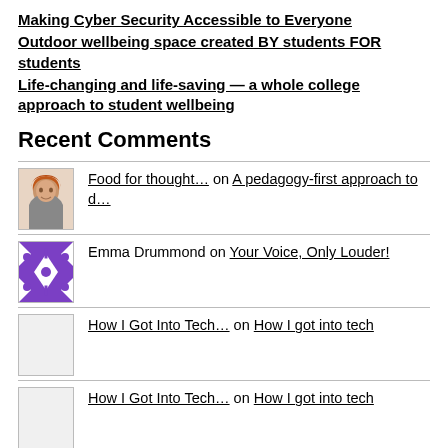Making Cyber Security Accessible to Everyone
Outdoor wellbeing space created BY students FOR students
Life-changing and life-saving — a whole college approach to student wellbeing
Recent Comments
Food for thought… on A pedagogy-first approach to d…
Emma Drummond on Your Voice, Only Louder!
How I Got Into Tech… on How I got into tech
How I Got Into Tech… on How I got into tech
Richard Steedman on Ambitious for West Lothian